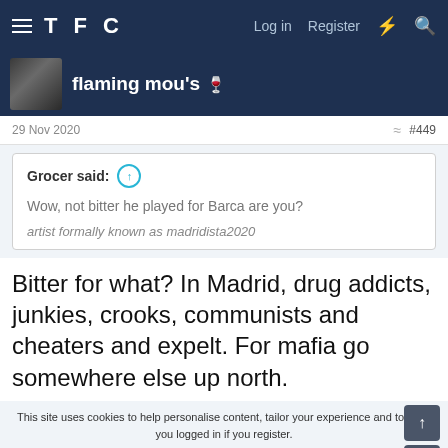TFC — Log in  Register
flaming mou's 🍷
29 Nov 2020  #449
Grocer said: ↑
Wow, not bitter he played for Barca are you?
artist formally known as madridista2020
Bitter for what? In Madrid, drug addicts, junkies, crooks, communists and cheaters and expelt. For mafia go somewhere else up north.
This site uses cookies to help personalise content, tailor your experience and to keep you logged in if you register.
By continuing to use this site, you are consenting to our use of cookies.
ACCEPT  LEARN MORE...